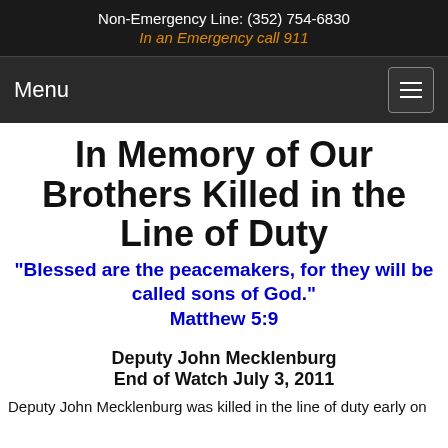Non-Emergency Line: (352) 754-6830
In an Emergency call 911
Menu
In Memory of Our Brothers Killed in the Line of Duty
"Blessed are the peacemakers, for they will be called sons of God." Matthew 5:9
Deputy John Mecklenburg
End of Watch July 3, 2011
Deputy John Mecklenburg was killed in the line of duty early on